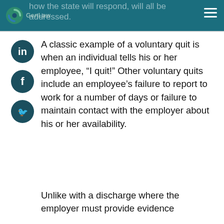how the state will respond, will all be addressed.
[Figure (logo): GenLaw logo with circular green/teal icon and text]
A classic example of a voluntary quit is when an individual tells his or her employee, “I quit!” Other voluntary quits include an employee’s failure to report to work for a number of days or failure to maintain contact with the employer about his or her availability.
Unlike with a discharge where the employer must provide evidence